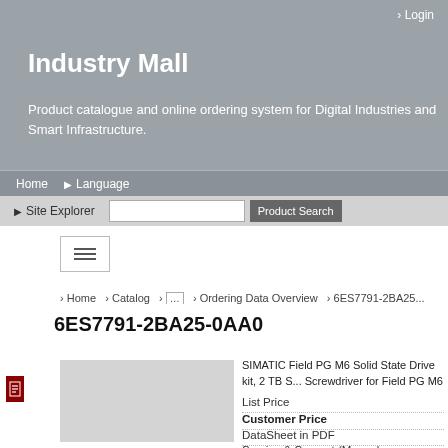Login
Industry Mall
Product catalogue and online ordering system for Digital Industries and Smart Infrastructure.
Home  Language
Site Explorer  [search box]  Product Search
[Figure (screenshot): Hamburger menu icon button]
Home › Catalog › … › Ordering Data Overview › 6ES7791-2BA25
6ES7791-2BA25-0AA0
[Figure (photo): Product image placeholder (light grey box)]
SIMATIC Field PG M6 Solid State Drive kit, 2 TB S... Screwdriver for Field PG M6
List Price
Customer Price
DataSheet in PDF
Service & Support (Manuals, Certificates, FAQs...